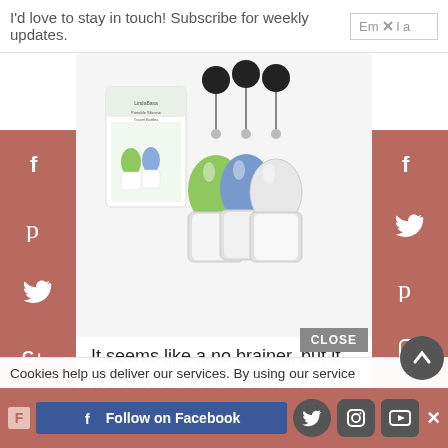I'd love to stay in touch! Subscribe for weekly updates.
[Figure (photo): Product photo showing portable silicone travel bottles in green, blue, and white colors with black retractable badge reel clips, next to product packaging box]
It seems like a no brainer, but if you remove a pest's food source, they won't keep coming back for more. Invest in some plastic or glass containers that have tight sealing lids. Your pantry can be a virtual smorgasbord for pests including
Cookies help us deliver our services. By using our services,
Follow on Facebook